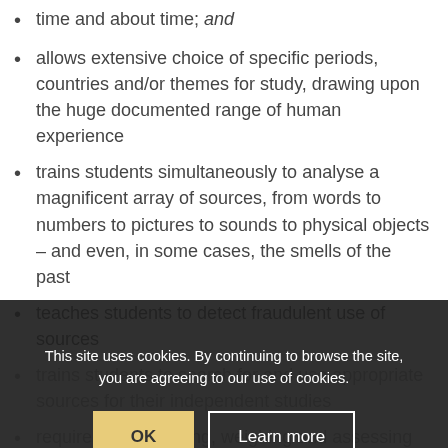time and about time; and
allows extensive choice of specific periods, countries and/or themes for study, drawing upon the huge documented range of human experience
trains students simultaneously to analyse a magnificent array of sources, from words to numbers to pictures to sounds to physical objects – and even, in some cases, the smells of the past
teaches students to detect fraudulent use of sources
trains students to search for and use appropriate sources for their independent studies
requires the gathering, weighing and assessing of disparate and often contradictory evidence to formulate reasoned conclusions
inculcates the expression of cogent argument both